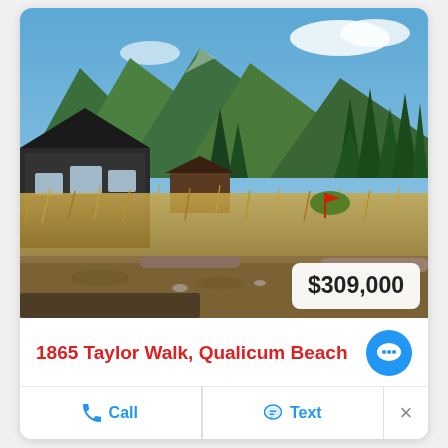[Figure (photo): Outdoor vacant land photo showing a dirt lot with dry grass and logs in the foreground, tall evergreen trees in the middle ground, a dark-colored house on the left, and green mountain peaks under a blue sky in the background. A price badge reading $309,000 overlays the lower right.]
$309,000
1865 Taylor Walk, Qualicum Beach
Call
Text